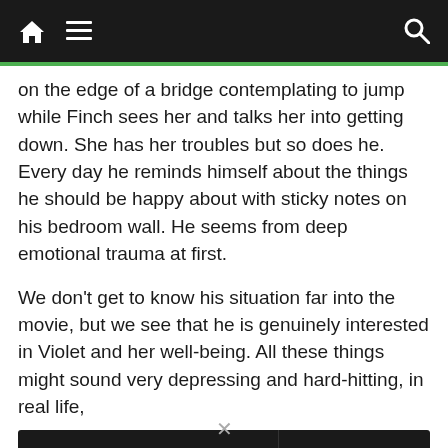Navigation bar with home, menu, and search icons
on the edge of a bridge contemplating to jump while Finch sees her and talks her into getting down. She has her troubles but so does he. Every day he reminds himself about the things he should be happy about with sticky notes on his bedroom wall. He seems from deep emotional trauma at first.
We don't get to know his situation far into the movie, but we see that he is genuinely interested in Violet and her well-being. All these things might sound very depressing and hard-hitting, in real life,
[Figure (other): Advertisement banner for Pure Earth: 'We believe the global pollution crisis can be solved. In a world where pollution doesn't stop at borders, we can all be part of the solution. JOIN US.' with Pure Earth logo.]